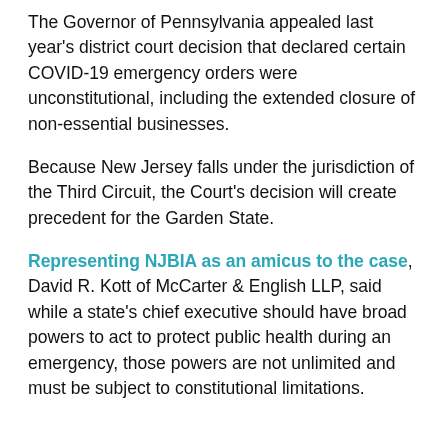The Governor of Pennsylvania appealed last year's district court decision that declared certain COVID-19 emergency orders were unconstitutional, including the extended closure of non-essential businesses.
Because New Jersey falls under the jurisdiction of the Third Circuit, the Court's decision will create precedent for the Garden State.
Representing NJBIA as an amicus to the case, David R. Kott of McCarter & English LLP, said while a state's chief executive should have broad powers to act to protect public health during an emergency, those powers are not unlimited and must be subject to constitutional limitations.